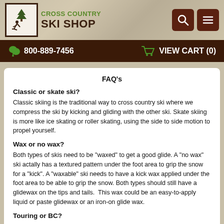Cross Country Ski Shop — 800-889-7456 — VIEW CART (0)
FAQ's
Classic or skate ski?
Classic skiing is the traditional way to cross country ski where we compress the ski by kicking and gliding with the other ski. Skate skiing is more like ice skating or roller skating, using the side to side motion to propel yourself.
Wax or no wax?
Both types of skis need to be "waxed" to get a good glide. A "no wax" ski actally has a textured pattern under the foot area to grip the snow for a "kick". A "waxable" ski needs to have a kick wax applied under the foot area to be able to grip the snow. Both types should still have a glidewax on the tips and tails.  This wax could be an easy-to-apply liquid or paste glidewax or an iron-on glide wax.
Touring or BC?